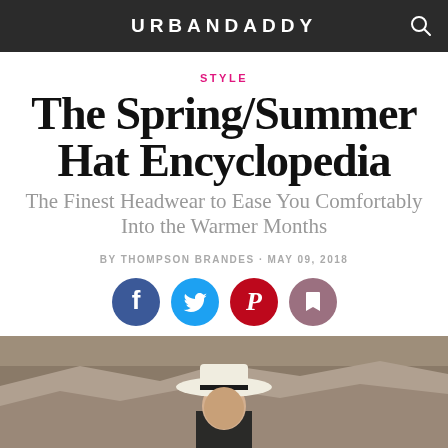URBANDADDY
STYLE
The Spring/Summer Hat Encyclopedia
The Finest Headwear to Ease You Comfortably Into the Warmer Months
BY THOMPSON BRANDES · MAY 09, 2018
[Figure (illustration): Social sharing icons: Facebook (blue circle with f), Twitter (light blue circle with bird), Pinterest (red circle with P), Bookmark/Save (mauve circle with bookmark icon)]
[Figure (photo): Man wearing a white Panama hat with black band, photographed outdoors against a rocky background, visible from the shoulders up]